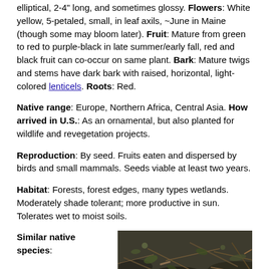elliptical, 2-4" long, and sometimes glossy. Flowers: White yellow, 5-petaled, small, in leaf axils, ~June in Maine (though some may bloom later). Fruit: Mature from green to red to purple-black in late summer/early fall, red and black fruit can co-occur on same plant. Bark: Mature twigs and stems have dark bark with raised, horizontal, light-colored lenticels. Roots: Red.
Native range: Europe, Northern Africa, Central Asia. How arrived in U.S.: As an ornamental, but also planted for wildlife and revegetation projects.
Reproduction: By seed. Fruits eaten and dispersed by birds and small mammals. Seeds viable at least two years.
Habitat: Forests, forest edges, many types wetlands. Moderately shade tolerant; more productive in sun. Tolerates wet to moist soils.
Similar native species:
[Figure (photo): A ground-level photograph showing plant debris, twigs, and foliage on the forest floor.]